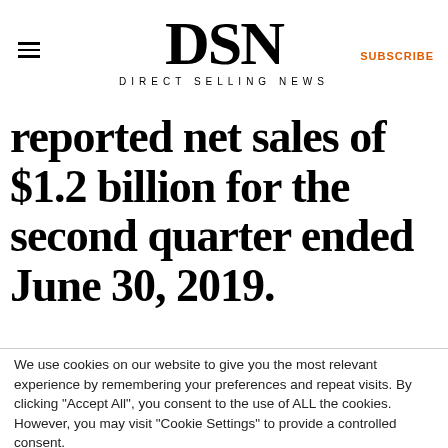DSN — DIRECT SELLING NEWS | SUBSCRIBE
reported net sales of $1.2 billion for the second quarter ended June 30, 2019.
We use cookies on our website to give you the most relevant experience by remembering your preferences and repeat visits. By clicking "Accept All", you consent to the use of ALL the cookies. However, you may visit "Cookie Settings" to provide a controlled consent.
Cookie Settings | Accept All